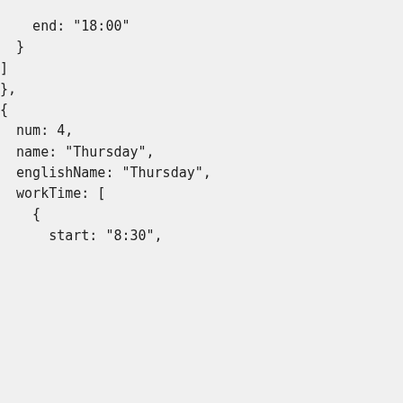end: "18:00"

  }

]

},

{

  num: 4,

  name: "Thursday",

  englishName: "Thursday",

  workTime: [

    {

      start: "8:30",